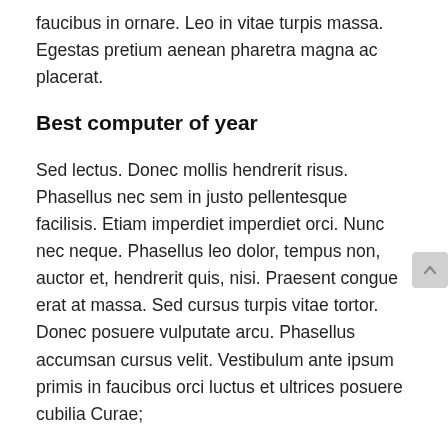faucibus in ornare. Leo in vitae turpis massa. Egestas pretium aenean pharetra magna ac placerat.
Best computer of year
Sed lectus. Donec mollis hendrerit risus. Phasellus nec sem in justo pellentesque facilisis. Etiam imperdiet imperdiet orci. Nunc nec neque. Phasellus leo dolor, tempus non, auctor et, hendrerit quis, nisi. Praesent congue erat at massa. Sed cursus turpis vitae tortor. Donec posuere vulputate arcu. Phasellus accumsan cursus velit. Vestibulum ante ipsum primis in faucibus orci luctus et ultrices posuere cubilia Curae;
Maecenas tempus, tellus eget condimentum rhoncus, sem quam semper libero, sit amet adipiscing sem neque sed